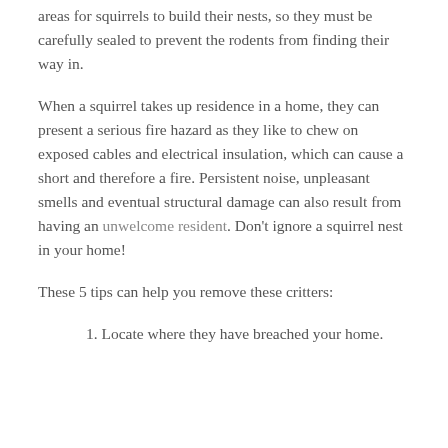areas for squirrels to build their nests, so they must be carefully sealed to prevent the rodents from finding their way in.
When a squirrel takes up residence in a home, they can present a serious fire hazard as they like to chew on exposed cables and electrical insulation, which can cause a short and therefore a fire. Persistent noise, unpleasant smells and eventual structural damage can also result from having an unwelcome resident. Don't ignore a squirrel nest in your home!
These 5 tips can help you remove these critters:
1. Locate where they have breached your home.